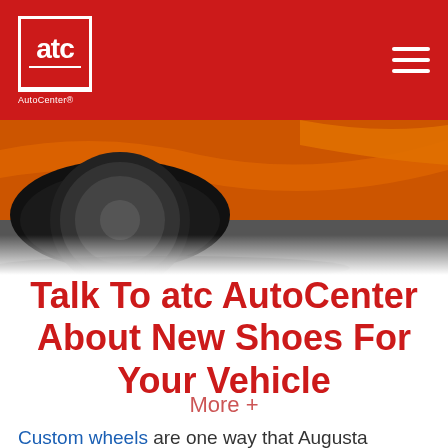atc AutoCenter
[Figure (photo): Close-up photo of an orange sports car wheel/tire from below, showing the rim and lower body panel against a dark asphalt background]
Talk To atc AutoCenter About New Shoes For Your Vehicle
More +
Custom wheels are one way that Augusta